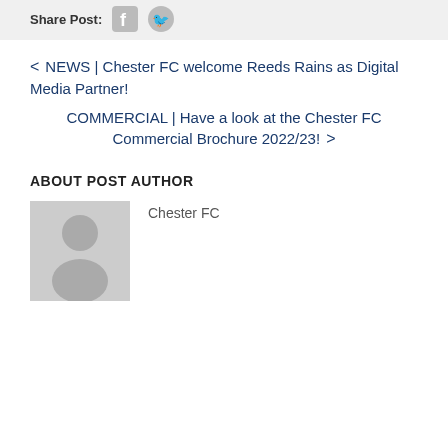Share Post:
< NEWS | Chester FC welcome Reeds Rains as Digital Media Partner!
COMMERCIAL | Have a look at the Chester FC Commercial Brochure 2022/23! >
ABOUT POST AUTHOR
[Figure (photo): Generic grey placeholder avatar showing a person silhouette]
Chester FC